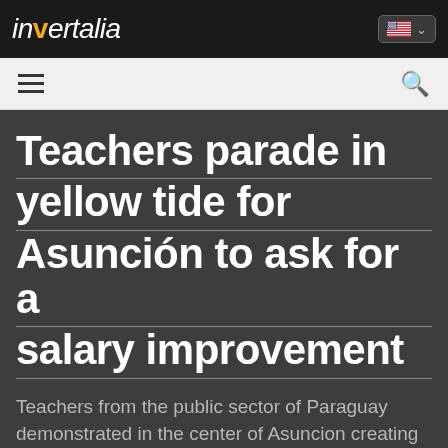invertalia
Teachers parade in yellow tide for Asunción to ask for a salary improvement
Teachers from the public sector of Paraguay demonstrated in the center of Asuncion creating a yellow tide to claim a salary improvement for the union, by rejecting the